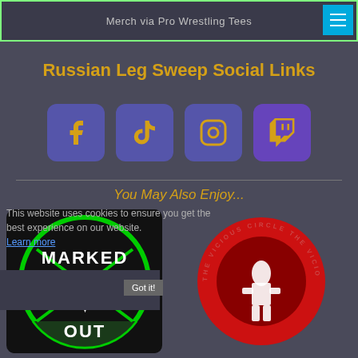Merch via Pro Wrestling Tees
Russian Leg Sweep Social Links
[Figure (illustration): Four social media icons: Facebook, TikTok, Instagram, Twitch — each on a purple rounded square background with gold icons]
You May Also Enjoy...
This website uses cookies to ensure you get the best experience on our website. Learn more
[Figure (illustration): Two podcast logos: 'Marked Out Wrestling Podcast' (green circle design on black background) and 'The Vicious Circle Podcast' (red circle with wrestler silhouette)]